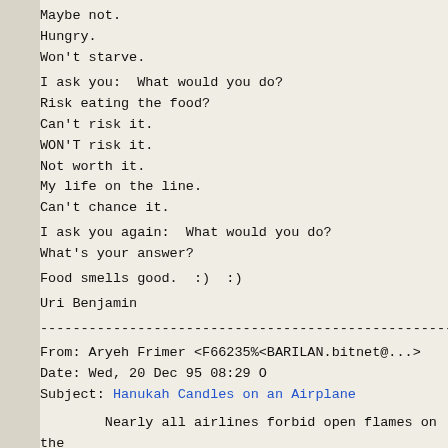Maybe not.
Hungry.
Won't starve.
I ask you:  What would you do?
Risk eating the food?
Can't risk it.
WON'T risk it.
Not worth it.
My life on the line.
Can't chance it.
I ask you again:  What would you do?
What's your answer?
Food smells good.  :)  :)
Uri Benjamin
--------------------------------------------------------------------------
From: Aryeh Frimer <F66235%<BARILAN.bitnet@...>
Date: Wed, 20 Dec 95 08:29 O
Subject: Hanukah Candles on an Airplane
Nearly all airlines forbid open flames on the
not for a duration of 1/2 hour or more. Furthermore,
that one cannot fulfill the mitsvah of neirot Hanukah